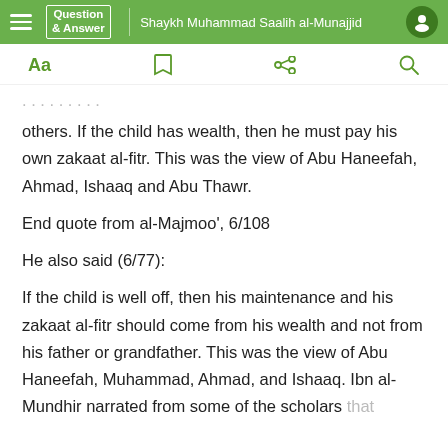Question & Answer | Shaykh Muhammad Saalih al-Munajjid
others. If the child has wealth, then he must pay his own zakaat al-fitr. This was the view of Abu Haneefah, Ahmad, Ishaaq and Abu Thawr.
End quote from al-Majmoo', 6/108
He also said (6/77):
If the child is well off, then his maintenance and his zakaat al-fitr should come from his wealth and not from his father or grandfather. This was the view of Abu Haneefah, Muhammad, Ahmad, and Ishaaq. Ibn al-Mundhir narrated from some of the scholars that